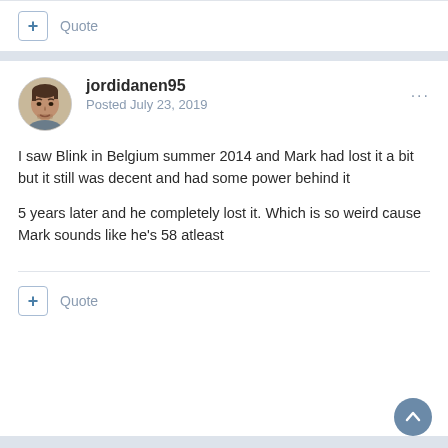+ Quote
jordidanen95
Posted July 23, 2019
I saw Blink in Belgium summer 2014 and Mark had lost it a bit but it still was decent and had some power behind it

5 years later and he completely lost it. Which is so weird cause Mark sounds like he's 58 atleast
+ Quote